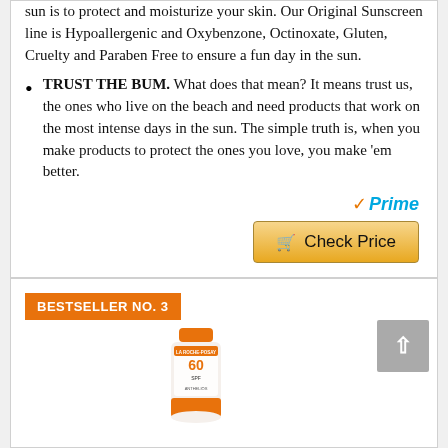sun is to protect and moisturize your skin. Our Original Sunscreen line is Hypoallergenic and Oxybenzone, Octinoxate, Gluten, Cruelty and Paraben Free to ensure a fun day in the sun.
TRUST THE BUM. What does that mean? It means trust us, the ones who live on the beach and need products that work on the most intense days in the sun. The simple truth is, when you make products to protect the ones you love, you make 'em better.
[Figure (logo): Amazon Prime logo with orange checkmark and blue italic Prime text, followed by a yellow Check Price button with cart icon]
BESTSELLER NO. 3
[Figure (photo): La Roche-Posay sunscreen tube SPF 60 product image, partially cropped at bottom of page]